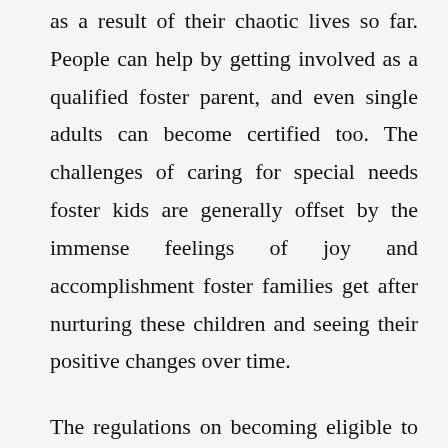as a result of their chaotic lives so far. People can help by getting involved as a qualified foster parent, and even single adults can become certified too. The challenges of caring for special needs foster kids are generally offset by the immense feelings of joy and accomplishment foster families get after nurturing these children and seeing their positive changes over time.
The regulations on becoming eligible to become a trusted foster